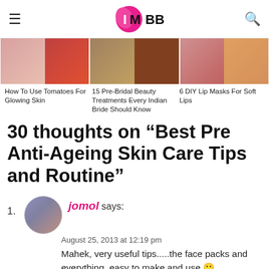IMBB
[Figure (photo): Three image pairs showing: tomato/face, Indian bride items, lip balm items]
How To Use Tomatoes For Glowing Skin
15 Pre-Bridal Beauty Treatments Every Indian Bride Should Know
6 DIY Lip Masks For Soft Lips
30 thoughts on “Best Pre Anti-Ageing Skin Care Tips and Routine”
1. jomol says:
August 25, 2013 at 12:19 pm
Mahek, very useful tips.....the face packs and everything, easy to make and use 🙂